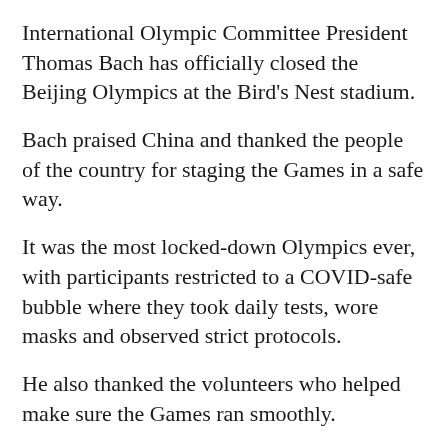International Olympic Committee President Thomas Bach has officially closed the Beijing Olympics at the Bird's Nest stadium.
Bach praised China and thanked the people of the country for staging the Games in a safe way.
It was the most locked-down Olympics ever, with participants restricted to a COVID-safe bubble where they took daily tests, wore masks and observed strict protocols.
He also thanked the volunteers who helped make sure the Games ran smoothly.
He said it “breaks our hearts” that some athletes could not attend because of the pandemic, but said they still belong to the Olympic community.
The president of the International Olympic Committee and